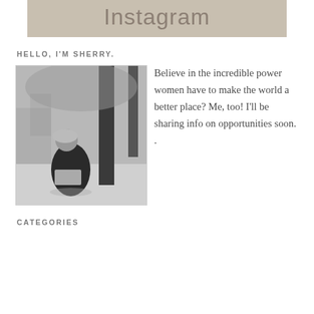Instagram
HELLO, I'M SHERRY.
[Figure (photo): Black and white photo of a woman sitting outdoors reading, with trees in background]
Believe in the incredible power women have to make the world a better place? Me, too! I'll be sharing info on opportunities soon. .
CATEGORIES